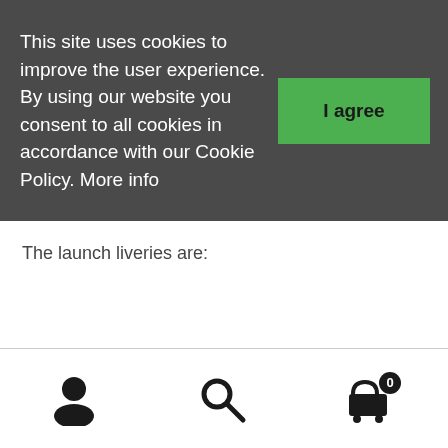This site uses cookies to improve the user experience. By using our website you consent to all cookies in accordance with our Cookie Policy. More info
I agree
The launch liveries are:
User icon | Search icon | Cart icon (0)